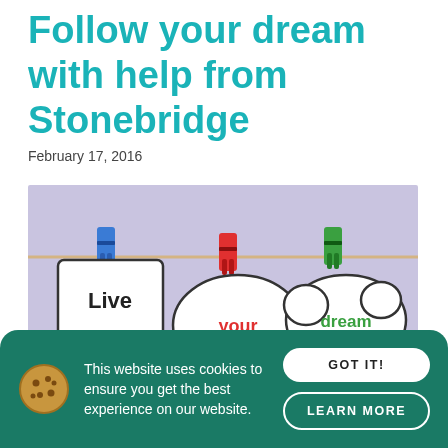Follow your dream with help from Stonebridge
February 17, 2016
[Figure (photo): Three colorful clothespins (blue, red, green) clipped to a string, each holding a speech bubble card that reads 'Live', 'your', 'dream' respectively, on a lavender background.]
This website uses cookies to ensure you get the best experience on our website.
GOT IT!
LEARN MORE